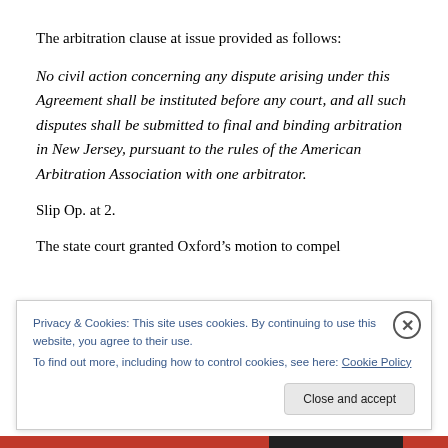The arbitration clause at issue provided as follows:
No civil action concerning any dispute arising under this Agreement shall be instituted before any court, and all such disputes shall be submitted to final and binding arbitration in New Jersey, pursuant to the rules of the American Arbitration Association with one arbitrator.
Slip Op. at 2.
The state court granted Oxford’s motion to compel
Privacy & Cookies: This site uses cookies. By continuing to use this website, you agree to their use.
To find out more, including how to control cookies, see here: Cookie Policy